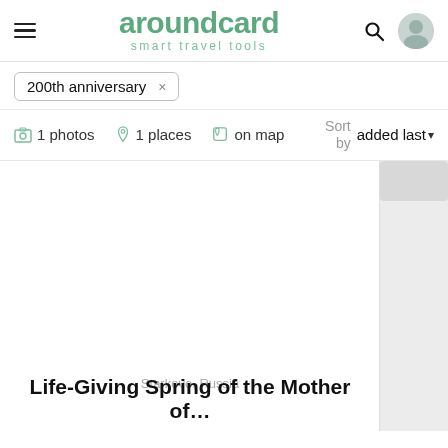aroundcard — smart travel tools
200th anniversary ×
1 photos  1 places  on map  Sort by  added last
[Figure (photo): White placeholder card area with a right scrollbar strip]
Starkovo, Russia
Life-Giving Spring of the Mother of...